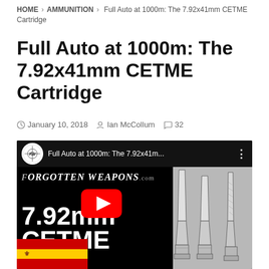HOME  >  AMMUNITION  >  Full Auto at 1000m: The 7.92x41mm CETME Cartridge
Full Auto at 1000m: The 7.92x41mm CETME Cartridge
January 10, 2018  Ian McCollum  32
[Figure (screenshot): YouTube video thumbnail for 'Full Auto at 1000m: The 7.92x41m...' showing Forgotten Weapons logo, 7.92mm CETME text, a red YouTube play button, illustrations of ammunition cartridges, and a Spanish flag in the lower left corner.]